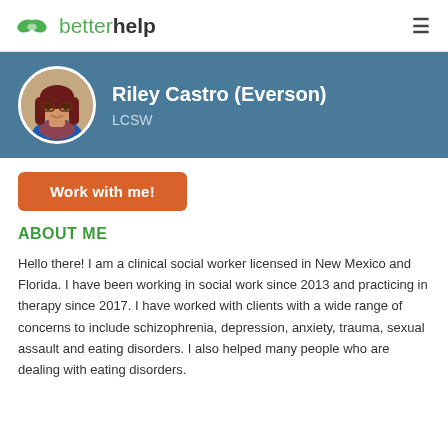betterhelp
Riley Castro (Everson)
LCSW
Work with me!
ABOUT ME
Hello there! I am a clinical social worker licensed in New Mexico and Florida. I have been working in social work since 2013 and practicing in therapy since 2017. I have worked with clients with a wide range of concerns to include schizophrenia, depression, anxiety, trauma, sexual assault and eating disorders. I also helped many people who are dealing with eating disorders.